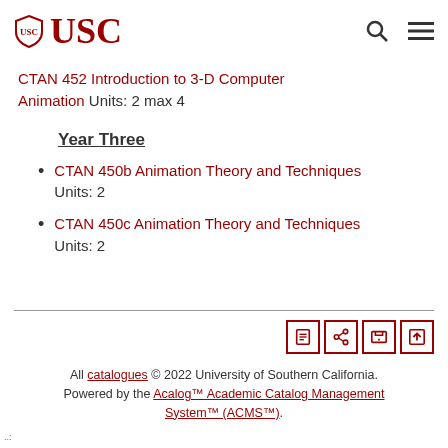USC
CTAN 452 Introduction to 3D Computer Animation Units: 2 max 4
Year Three
CTAN 450b Animation Theory and Techniques Units: 2
CTAN 450c Animation Theory and Techniques Units: 2
All catalogues © 2022 University of Southern California. Powered by the Acalog™ Academic Catalog Management System™ (ACMS™).